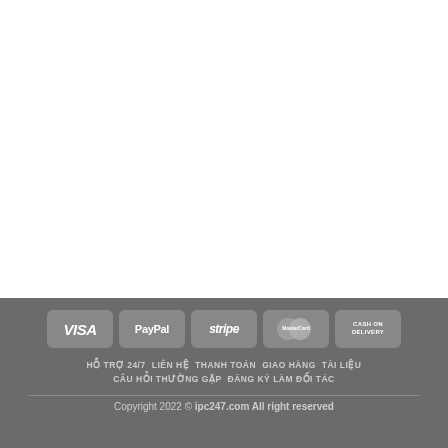[Figure (infographic): Payment method badges: VISA, PayPal, stripe, MasterCard, CASH ON DELIVERY]
HỖ TRỢ 24/7  LIÊN HỆ  THANH TOÁN  GIAO HÀNG  TÀI LIỆU  CÂU HỎI THƯỜNG GẶP  ĐĂNG KÝ LÀM ĐỐI TÁC
Copyright 2022 © ipc247.com All right reserved